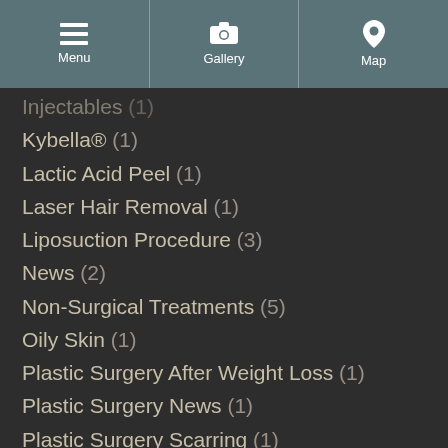Menu | Gallery | Map
Injectables (1)
Kybella® (1)
Lactic Acid Peel (1)
Laser Hair Removal (1)
Liposuction Procedure (3)
News (2)
Non-Surgical Treatments (5)
Oily Skin (1)
Plastic Surgery After Weight Loss (1)
Plastic Surgery News (1)
Plastic Surgery Scarring (1)
Prepare for Surgery (1)
Procedures for Men (2)
Recovery Tips (1)
Rhinoplasty Procedure (1)